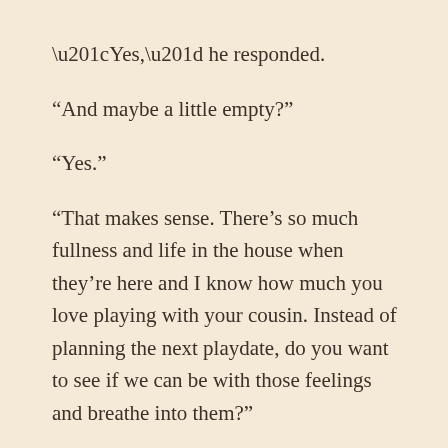“Yes,” he responded.
“And maybe a little empty?”
“Yes.”
“That makes sense. There’s so much fullness and life in the house when they’re here and I know how much you love playing with your cousin. Instead of planning the next playdate, do you want to see if we can be with those feelings and breathe into them?”
He nodded, and I could see that my words were landing in a soft and vulnerable place